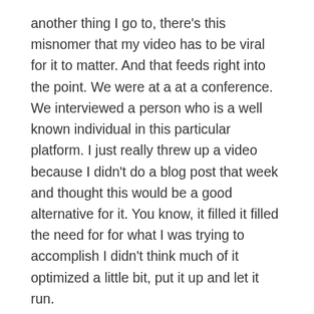another thing I go to, there's this misnomer that my video has to be viral for it to matter. And that feeds right into the point. We were at a at a conference. We interviewed a person who is a well known individual in this particular platform. I just really threw up a video because I didn't do a blog post that week and thought this would be a good alternative for it. You know, it filled it filled the need for for what I was trying to accomplish I didn't think much of it optimized a little bit, put it up and let it run.
Now, about four months later and maybe less than 30 views. So, again, not a very well performing video, but somebody and this will lead to another point. Somebody searched it, found it, watched it and called us because that video. The conversation thirty days later turned into